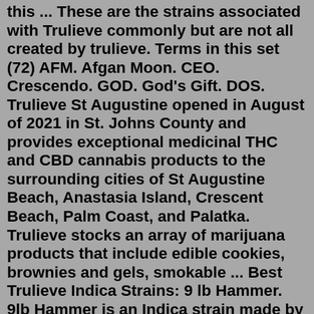this ... These are the strains associated with Trulieve commonly but are not all created by trulieve. Terms in this set (72) AFM. Afgan Moon. CEO. Crescendo. GOD. God's Gift. DOS. Trulieve St Augustine opened in August of 2021 in St. Johns County and provides exceptional medicinal THC and CBD cannabis products to the surrounding cities of St Augustine Beach, Anastasia Island, Crescent Beach, Palm Coast, and Palatka. Trulieve stocks an array of marijuana products that include edible cookies, brownies and gels, smokable ... Best Trulieve Indica Strains: 9 lb Hammer. 9lb Hammer is an Indica strain made by crossing Gooberry, Hells OG, and Jack the Ripper. 9lb Hammer has been out for a while and has become very popular and the default Indica strain. BSF 9mm Barrel Carbon Fiber Sleeved $ 429.00. BSF 308 Barrel Fluted Carbon Fiber Sleeved $ 629.00. I use Trulieve products for anxiety. I currently use the Mystica with 400mg ADCD during the day and GSC ceramic carts at night. ... Trulieve will introduce regional product drops of its small-batch, top-shelf